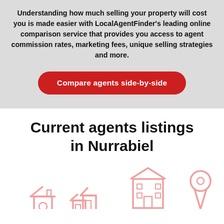Understanding how much selling your property will cost you is made easier with LocalAgentFinder's leading online comparison service that provides you access to agent commission rates, marketing fees, unique selling strategies and more.
[Figure (other): Red pill-shaped button with white bold text reading 'Compare agents side-by-side']
Current agents listings in Nurrabiel
[Figure (illustration): Four pink/light-red outline icons: a small house, a double house, a larger multi-story building, and a map pin/location marker]